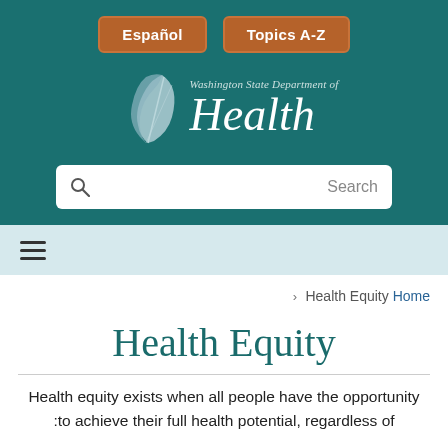[Figure (logo): Washington State Department of Health logo with teal background, stylized feather/leaf icon and italic white 'Health' text, plus navigation buttons for Español and Topics A-Z, and a search bar]
≡ (hamburger menu navigation bar)
> Health Equity Home
Health Equity
Health equity exists when all people have the opportunity :to achieve their full health potential, regardless of